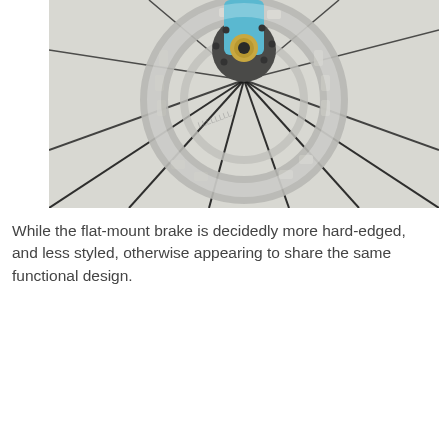[Figure (photo): Close-up photograph of a bicycle disc brake rotor mounted on a wheel hub. The rotor is silver/metallic with cutout patterns around its circumference. A blue bicycle fork/hub is visible at the top center. Black wheel spokes radiate outward in an X-pattern against a light background.]
While the flat-mount brake is decidedly more hard-edged, and less styled, otherwise appearing to share the same functional design.